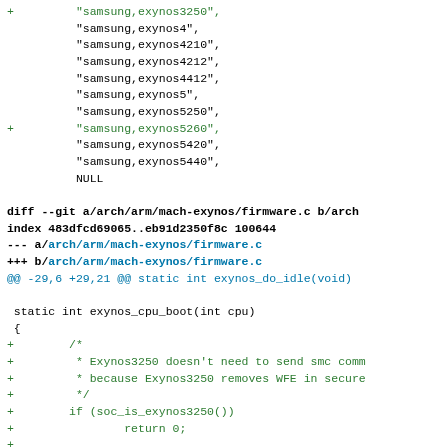[Figure (screenshot): A git diff code patch showing changes to Linux kernel ARM Exynos firmware files. The top portion shows a list of samsung exynos compatible strings being added, and the bottom shows changes to firmware.c adding Exynos3250 and SMC_CMD_CPU1BOOT handling.]